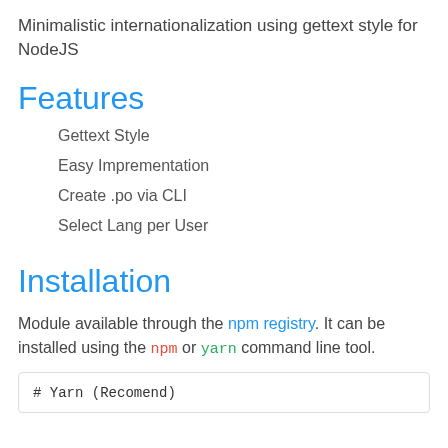Minimalistic internationalization using gettext style for NodeJS
Features
Gettext Style
Easy Imprementation
Create .po via CLI
Select Lang per User
Installation
Module available through the npm registry. It can be installed using the npm or yarn command line tool.
# Yarn (Recomend)